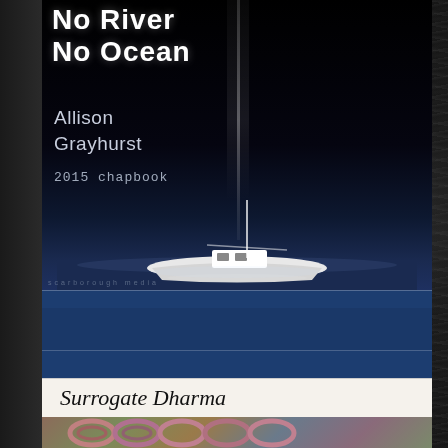[Figure (illustration): Book cover for 'No River No Ocean' by Allison Grayhurst, 2015 chapbook, Scarborough Media. Dark background with image of a sailboat and white text. Below are two blue horizontal divider strips.]
[Figure (illustration): Book cover for 'Surrogate Dharma' with white background, italic title text, and an image of metal chain links with colorful background underneath.]